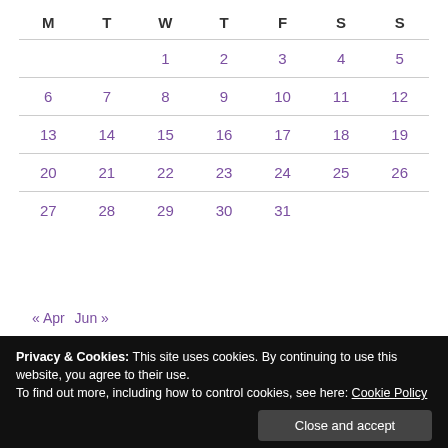| M | T | W | T | F | S | S |
| --- | --- | --- | --- | --- | --- | --- |
|  |  | 1 | 2 | 3 | 4 | 5 |
| 6 | 7 | 8 | 9 | 10 | 11 | 12 |
| 13 | 14 | 15 | 16 | 17 | 18 | 19 |
| 20 | 21 | 22 | 23 | 24 | 25 | 26 |
| 27 | 28 | 29 | 30 | 31 |  |  |
« Apr  Jun »
Privacy & Cookies: This site uses cookies. By continuing to use this website, you agree to their use.
To find out more, including how to control cookies, see here: Cookie Policy
Close and accept